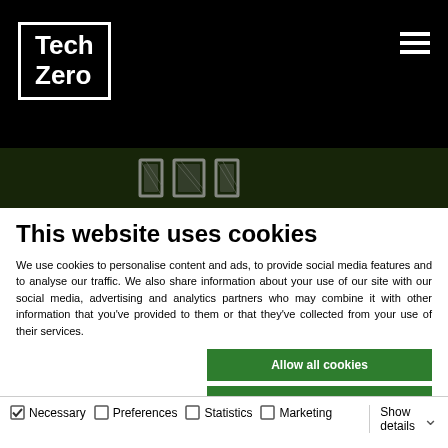Tech Zero
[Figure (screenshot): Dark hero banner area with green foliage background and stylized text/logo in center]
This website uses cookies
We use cookies to personalise content and ads, to provide social media features and to analyse our traffic. We also share information about your use of our site with our social media, advertising and analytics partners who may combine it with other information that you've provided to them or that they've collected from your use of their services.
Allow all cookies
Allow selection
Use necessary cookies only
Necessary  Preferences  Statistics  Marketing  Show details